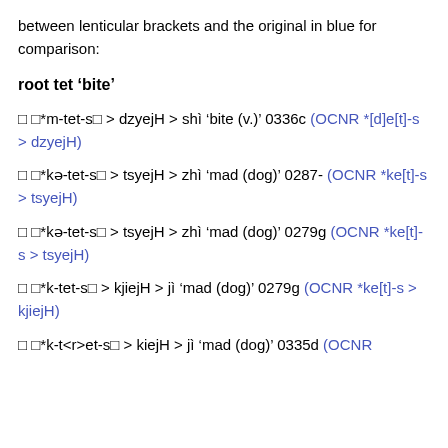between lenticular brackets and the original in blue for comparison:
root tet ‘bite’
□ □*m-tet-s□ > dzyejH > shì ‘bite (v.)’ 0336c (OCNR *[d]e[t]-s > dzyejH)
□ □*kə-tet-s□ > tsyejH > zhì ‘mad (dog)’ 0287- (OCNR *ke[t]-s > tsyejH)
□ □*kə-tet-s□ > tsyejH > zhì ‘mad (dog)’ 0279g (OCNR *ke[t]-s > tsyejH)
□ □*k-tet-s□ > kjiejH > jì ‘mad (dog)’ 0279g (OCNR *ke[t]-s > kjiejH)
□ □*k-t<r>et-s□ > kiejH > jì ‘mad (dog)’ 0335d (OCNR